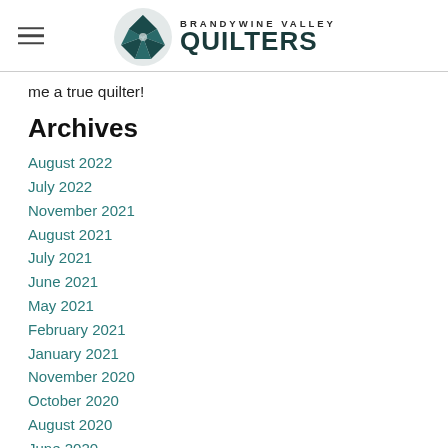Brandywine Valley Quilters
me a true quilter!
Archives
August 2022
July 2022
November 2021
August 2021
July 2021
June 2021
May 2021
February 2021
January 2021
November 2020
October 2020
August 2020
June 2020
March 2020